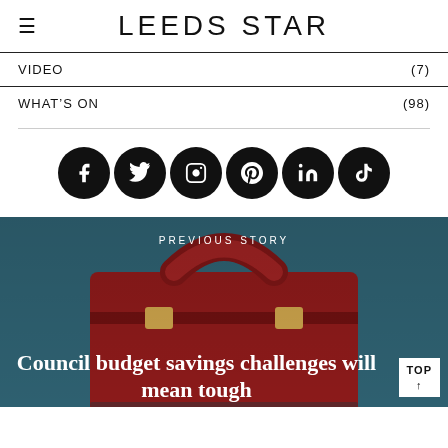LEEDS STAR
VIDEO (7)
WHAT'S ON (98)
[Figure (infographic): Six circular black social media icons in a row: Facebook (f), Twitter bird, Instagram camera, Pinterest (P), LinkedIn (in), TikTok]
[Figure (photo): A red leather briefcase photographed against a teal/dark background, showing the top handle in close-up. Overlaid text reads PREVIOUS STORY above the headline.]
PREVIOUS STORY
Council budget savings challenges will mean tough